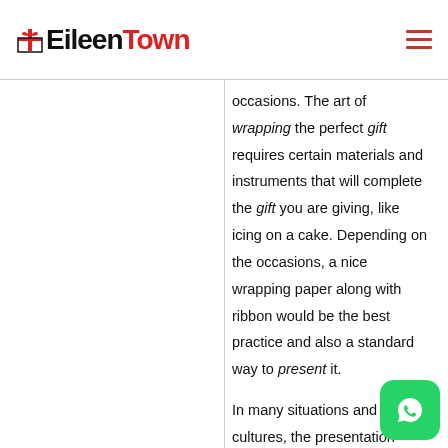EileenTown
occasions. The art of wrapping the perfect gift requires certain materials and instruments that will complete the gift you are giving, like icing on a cake. Depending on the occasions, a nice wrapping paper along with ribbon would be the best practice and also a standard way to present it.

In many situations and cultures, the presentation